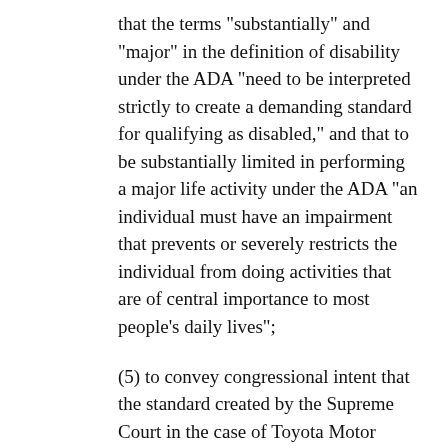that the terms "substantially" and "major" in the definition of disability under the ADA "need to be interpreted strictly to create a demanding standard for qualifying as disabled," and that to be substantially limited in performing a major life activity under the ADA "an individual must have an impairment that prevents or severely restricts the individual from doing activities that are of central importance to most people's daily lives";
(5) to convey congressional intent that the standard created by the Supreme Court in the case of Toyota Motor Manufacturing, Kentucky, Inc. v. Williams, 534 U.S. 184 (2002) for "substantially limits", and applied by lower courts in numerous decisions, has created an inappropriately high level of limitation necessary to obtain coverage under the ADA, to convey that it is the intent of Congress that the